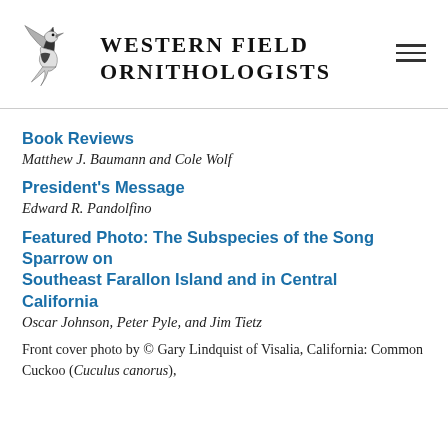[Figure (logo): Western Field Ornithologists logo with a bird illustration and organization name text]
Book Reviews
Matthew J. Baumann and Cole Wolf
President's Message
Edward R. Pandolfino
Featured Photo: The Subspecies of the Song Sparrow on Southeast Farallon Island and in Central California
Oscar Johnson, Peter Pyle, and Jim Tietz
Front cover photo by © Gary Lindquist of Visalia, California: Common Cuckoo (Cuculus canorus),